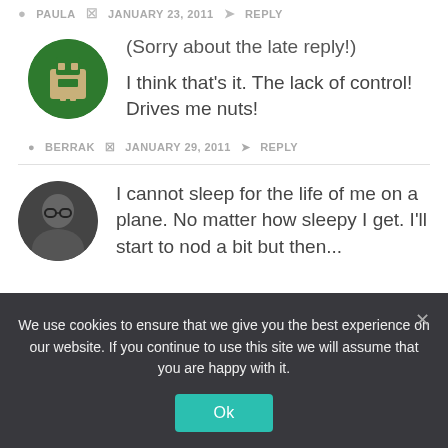PAULA  JANUARY 23, 2011  REPLY
(Sorry about the late reply!)

I think that's it. The lack of control! Drives me nuts!
BERRAK  JANUARY 29, 2011  REPLY
I cannot sleep for the life of me on a plane. No matter how sleepy I get. I'll start to nod a bit but then...
We use cookies to ensure that we give you the best experience on our website. If you continue to use this site we will assume that you are happy with it.